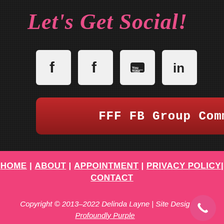Let's Get Social!
[Figure (infographic): Four social media icon buttons arranged horizontally: two Facebook icons, one YouTube icon, one LinkedIn icon, all on white/light grey square backgrounds.]
FFF FB Group Community »
HOME | ABOUT | APPOINTMENT | PRIVACY POLICY| CONTACT
Copyright © 2013–2022 Delinda Layne | Site Desig Profoundly Purple